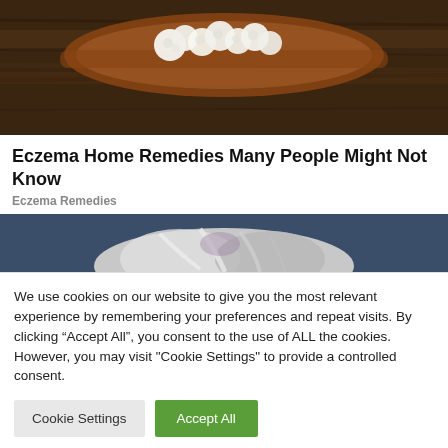[Figure (photo): Photo of a wooden spoon with white cauliflower florets on a rustic dark wood surface]
Eczema Home Remedies Many People Might Not Know
Eczema Remedies
[Figure (photo): Top portion of a person's head with gray and white hair against a dark blue background]
We use cookies on our website to give you the most relevant experience by remembering your preferences and repeat visits. By clicking “Accept All”, you consent to the use of ALL the cookies. However, you may visit "Cookie Settings" to provide a controlled consent.